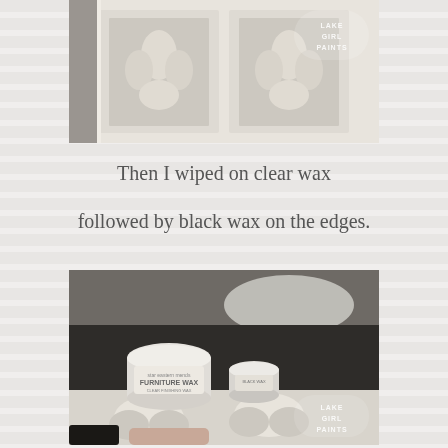[Figure (photo): Photo of a white painted cabinet/furniture piece with decorative fleur-de-lis and scroll molding details, photographed from above. Lake Girl Paints watermark in upper right.]
Then I wiped on clear wax

followed by black wax on the edges.
[Figure (photo): Photo showing two jars of furniture wax (one large, one small) sitting on the dark-painted top of a white ornate dresser/cabinet. A hand wearing a dark glove is visible at the bottom. Lake Girl Paints watermark in lower right.]